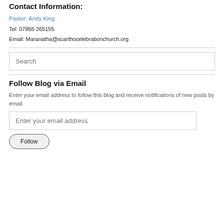Contact Information:
Pastor: Andy King
Tel: 07866 265155
Email: Maranatha@scarthocelebrationchurch.org
[Figure (other): Search input box with placeholder text 'Search']
Follow Blog via Email
Enter your email address to follow this blog and receive notifications of new posts by email.
[Figure (other): Email input field with placeholder 'Enter your email address' and a Follow button below]